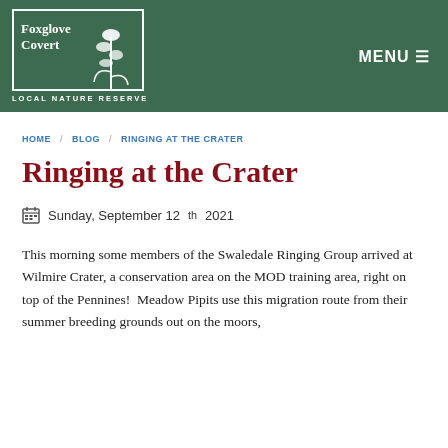[Figure (logo): Foxglove Covert Local Nature Reserve logo — white text and illustrated foxglove plant on dark green background]
MENU ≡
HOME / BLOG / RINGING AT THE CRATER
Ringing at the Crater
Sunday, September 12th 2021
This morning some members of the Swaledale Ringing Group arrived at Wilmire Crater, a conservation area on the MOD training area, right on top of the Pennines! Meadow Pipits use this migration route from their summer breeding grounds out on the moors,